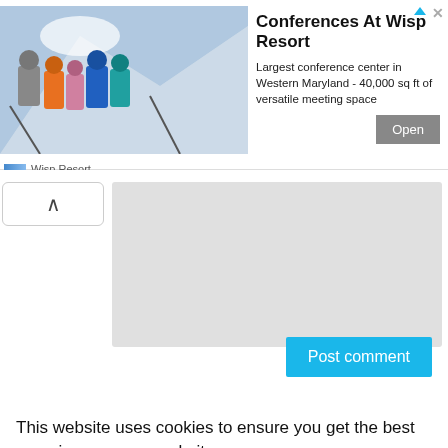[Figure (photo): Advertisement banner showing a group of skiers/snowboarders in colorful jackets on a snowy mountain. Wisp Resort branding with 'Conferences At Wisp Resort' headline and Open button.]
Conferences At Wisp Resort
Largest conference center in Western Maryland - 40,000 sq ft of versatile meeting space
Wisp Resort
Post comment
This website uses cookies to ensure you get the best experience on our website.
Learn more
Got it!